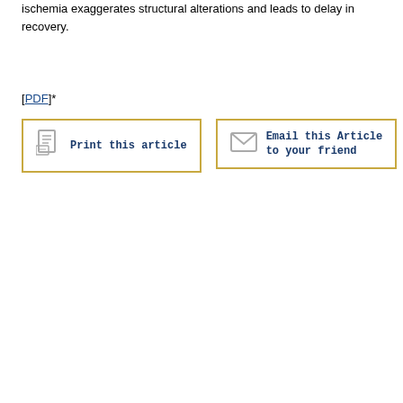ischemia exaggerates structural alterations and leads to delay in recovery.
[PDF]*
[Figure (other): Print this article button with document icon, gold border]
[Figure (other): Email this Article to your friend button with envelope icon, gold border]